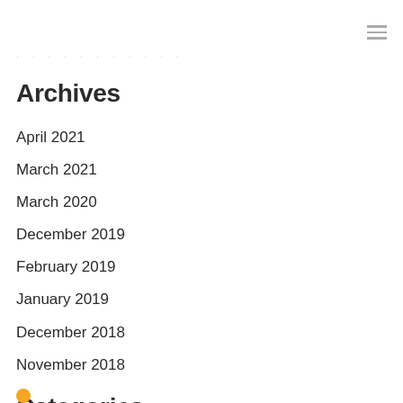≡ (hamburger menu icon)
· · · · · · · · · · ·
Archives
April 2021
March 2021
March 2020
December 2019
February 2019
January 2019
December 2018
November 2018
Categories
All